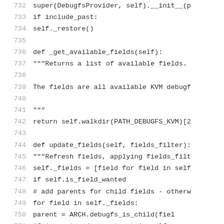732     super(DebugfsProvider, self).__init__(p
733     if include_past:
734         self._restore()
735
736     def _get_available_fields(self):
737         """Returns a list of available fields.
738
739         The fields are all available KVM debugf
740
741         """
742         return self.walkdir(PATH_DEBUGFS_KVM)[2
743
744     def update_fields(self, fields_filter):
745         """Refresh fields, applying fields_filt
746         self._fields = [field for field in self
747                         if self.is_field_wanted
748         # add parents for child fields - otherw
749         for field in self._fields:
750             parent = ARCH.debugfs_is_child(fiel
751             if (parent and parent not in self._
752                 self.fields.append(parent)
753